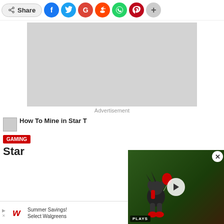[Figure (other): Social sharing bar with Share button and social media icons: Facebook, Twitter, Google+, Reddit, WhatsApp, Pinterest, and more (+)]
[Figure (other): Large grey advertisement placeholder rectangle]
Advertisement
[Figure (other): Article thumbnail image placeholder]
How To Mine in Star T
GAMING
Star
[Figure (other): Bottom advertisement banner: Walgreens Summer Savings! Select Walgreens]
[Figure (other): Overlaid video player showing Sonic the Hedgehog game with play button and PLAYS badge, with close (X) button]